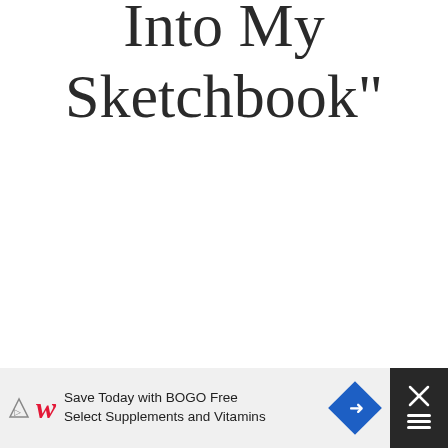Into My Sketchbook"
ALICIA PAYNE
AUGUST 11, 2015 AT 1:26 AM
You're so talented!!!
Reply
[Figure (other): Advertisement banner: Walgreens logo, 'Save Today with BOGO Free Select Supplements and Vitamins' with blue arrow icon and close button]